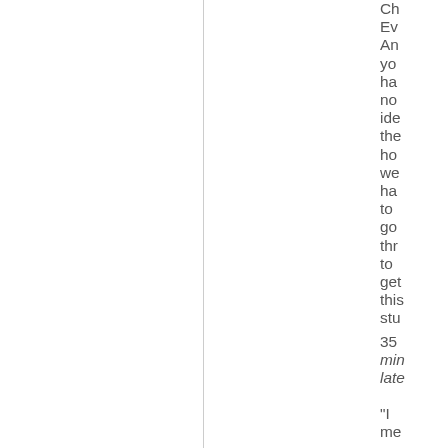Ch
Ev
An
yo
ha
no
ide
the
ho
we
ha
to
go
thr
to
get
this
stu
35
min
late
"I
me